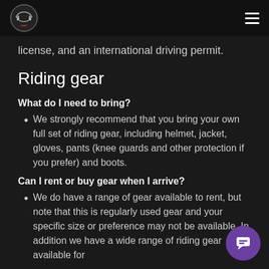Siam Handlebar
license, and an international driving permit.
Riding gear
What do I need to bring?
We strongly recommend that you bring your own full set of riding gear, including helmet, jacket, gloves, pants (knee guards and other protection if you prefer) and boots.
Can I rent or buy gear when I arrive?
We do have a range of gear available to rent, but note that this is regularly used gear and your specific size or preference may not be available. In addition we have a wide range of riding gear available for